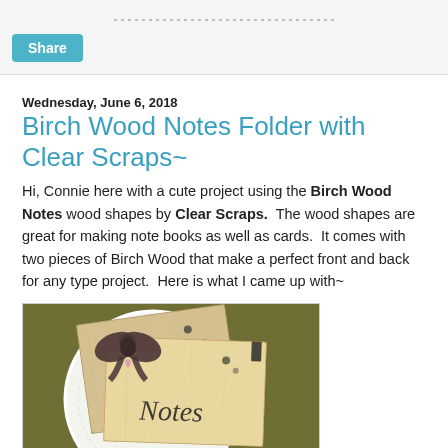Share
Wednesday, June 6, 2018
Birch Wood Notes Folder with Clear Scraps~
Hi, Connie here with a cute project using the Birch Wood Notes wood shapes by Clear Scraps. The wood shapes are great for making note books as well as cards. It comes with two pieces of Birch Wood that make a perfect front and back for any type project. Here is what I came up with~
[Figure (photo): Photo of a handmade birch wood notes folder craft project sitting on a white doily, with a dark fabric bow and a small heart decoration, on an olive green background. The wood piece has 'Notes' written in cursive on it.]